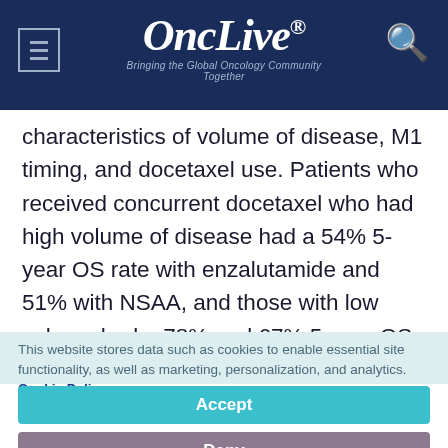OncLive® — Bringing the Global Oncology Community Together
characteristics of volume of disease, M1 timing, and docetaxel use. Patients who received concurrent docetaxel who had high volume of disease had a 54% 5-year OS rate with enzalutamide and 51% with NSAA, and those with low volume had a 78% and 67% 5-year OS rate, respectively. The 5-year OS rates were 81% and 66% for those with low-volume
This website stores data such as cookies to enable essential site functionality, as well as marketing, personalization, and analytics. Cookie Policy
Accept
Deny